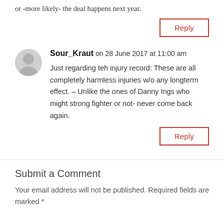or -more likely- the deal happens next year.
Reply
Sour_Kraut on 28 June 2017 at 11:00 am
Just regarding teh injury record: These are all completely harmless injuries w/o any longterm effect. – Unlike the ones of Danny Ings who might strong fighter or not- never come back again.
Reply
Submit a Comment
Your email address will not be published. Required fields are marked *